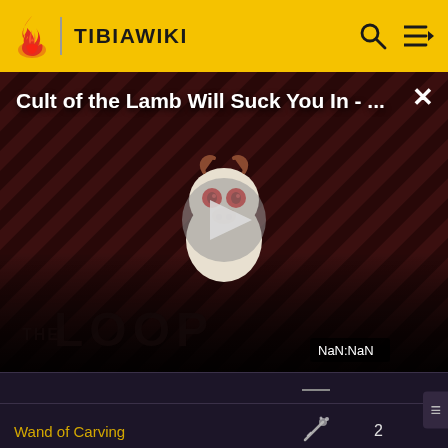TIBIAWIKI
[Figure (screenshot): Video overlay showing 'Cult of the Lamb Will Suck You In - ...' with THE LOOP branding, a cartoon character mascot, play button, and NaN:NaN timestamp. Dark red diagonal striped background.]
| Name | Icon | Value |
| --- | --- | --- |
| Wand of Carving | [icon] | 2 |
| Wand of Destruction | [icon] | 2 |
| Wand of Draconia | [icon] | 2 |
| Wand of Drac... | [icon] | 2 |